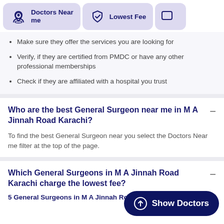[Figure (screenshot): Top filter bar with 'Doctors Near me' button (location icon) and 'Lowest Fee' button (shield icon) and a partially visible third icon]
Make sure they offer the services you are looking for
Verify, if they are certified from PMDC or have any other professional memberships
Check if they are affiliated with a hospital you trust
Who are the best General Surgeon near me in M A Jinnah Road Karachi?
To find the best General Surgeon near you select the Doctors Near me filter at the top of the page.
Which General Surgeons in M A Jinnah Road Karachi charge the lowest fee?
5 General Surgeons in M A Jinnah Road Karachi